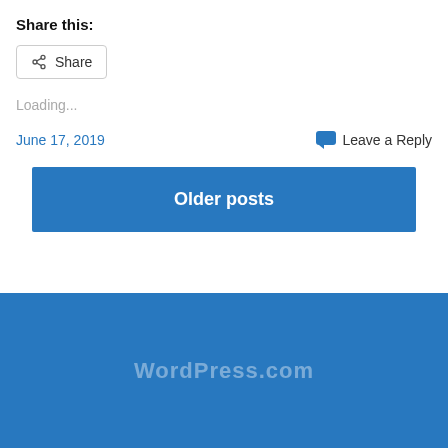Share this:
Share
Loading...
June 17, 2019
Leave a Reply
Older posts
[Figure (other): Blue footer background area with faint logo/watermark text]